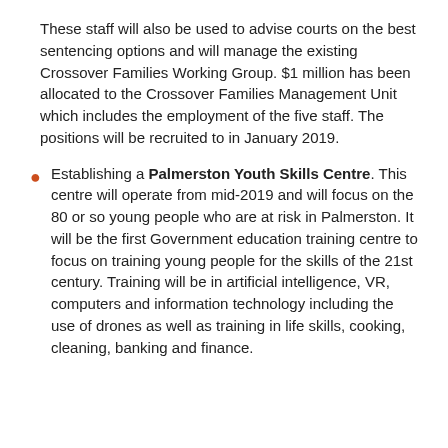These staff will also be used to advise courts on the best sentencing options and will manage the existing Crossover Families Working Group. $1 million has been allocated to the Crossover Families Management Unit which includes the employment of the five staff. The positions will be recruited to in January 2019.
Establishing a Palmerston Youth Skills Centre. This centre will operate from mid-2019 and will focus on the 80 or so young people who are at risk in Palmerston. It will be the first Government education training centre to focus on training young people for the skills of the 21st century. Training will be in artificial intelligence, VR, computers and information technology including the use of drones as well as training in life skills, cooking, cleaning, banking and finance.